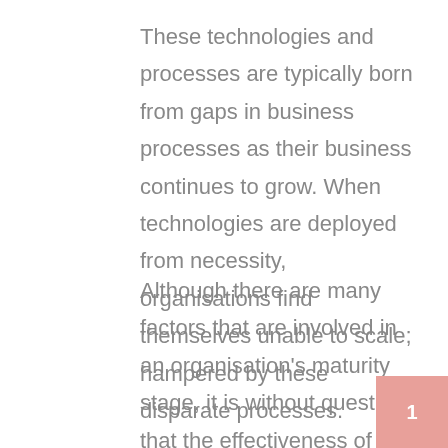These technologies and processes are typically born from gaps in business processes as their business continues to grow. When technologies are deployed from necessity, organisations find themselves unable to scale; hampered by these disparate processes.
Although there are many factors that are involved in an organisation's maturity stage, it is without question that the effectiveness of their technology is highly impactful. With technology as a cornerstone to success for an organisation's maturity, organisations need to evaluate software based on the
1